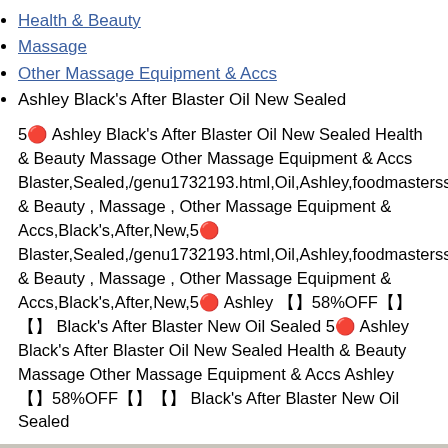Health & Beauty
Massage
Other Massage Equipment & Accs
Ashley Black's After Blaster Oil New Sealed
5🔴 Ashley Black's After Blaster Oil New Sealed Health & Beauty Massage Other Massage Equipment & Accs Blaster,Sealed,/genu1732193.html,Oil,Ashley,foodmasterss.000webb & Beauty , Massage , Other Massage Equipment & Accs,Black's,After,New,5🔴 Blaster,Sealed,/genu1732193.html,Oil,Ashley,foodmasterss.000webb & Beauty , Massage , Other Massage Equipment & Accs,Black's,After,New,5🔴 Ashley 【】58%OFF【】【】 Black's After Blaster New Oil Sealed 5🔴 Ashley Black's After Blaster Oil New Sealed Health & Beauty Massage Other Massage Equipment & Accs Ashley 【】58%OFF【】【】 Black's After Blaster New Oil Sealed
[Figure (photo): Photo of a sealed bottle/container of Ashley Black's After Blaster Oil product, appearing metallic/silver colored against a light gray background]